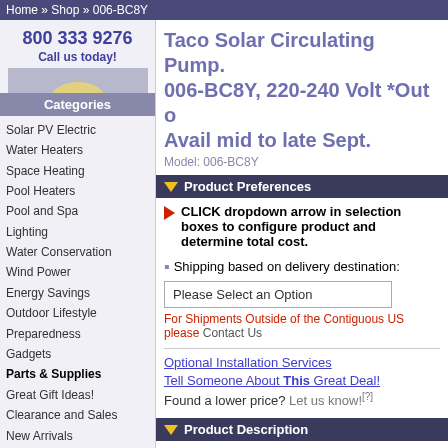Home » Shop » 006-BC8Y
800 333 9276
Call us today!
[Figure (photo): Customer service representative with headset smiling]
Categories
Solar PV Electric
Water Heaters
Space Heating
Pool Heaters
Pool and Spa
Lighting
Water Conservation
Wind Power
Energy Savings
Outdoor Lifestyle
Preparedness
Gadgets
Parts & Supplies
Great Gift Ideas!
Clearance and Sales
New Arrivals
Taco Solar Circulating Pump. 006-BC8Y, 220-240 Volt *Out o Avail mid to late Sept.
Model: 006-BC8Y
Product Preferences
CLICK dropdown arrow in selection boxes to configure product and determine total cost.
Shipping based on delivery destination:
Please Select an Option
For Shipments Outside of the Contiguous US please Contact Us
Optional Installation Services
Tell Someone About This Great Deal!
Found a lower price? Let us know![?]
Product Description
TACO 006 Seri...